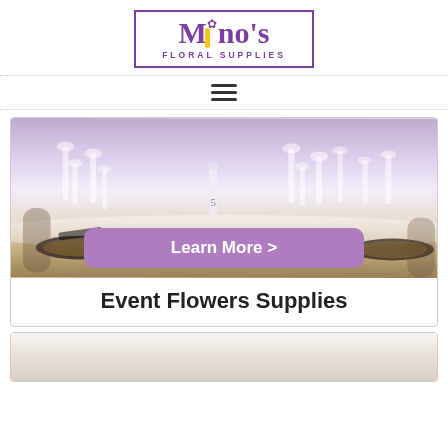[Figure (logo): Mino's Floral Supplies logo with purple text and yellow flower stem, inside a purple rectangle border]
[Figure (other): Hamburger/menu icon with three horizontal lines]
[Figure (photo): Photo of elegant event table setting with wine glasses, candles, dark plates and white tablecloth]
Learn More >
Event Flowers Supplies
[Figure (photo): Partial view of a second card/section at bottom with a light-colored photo]